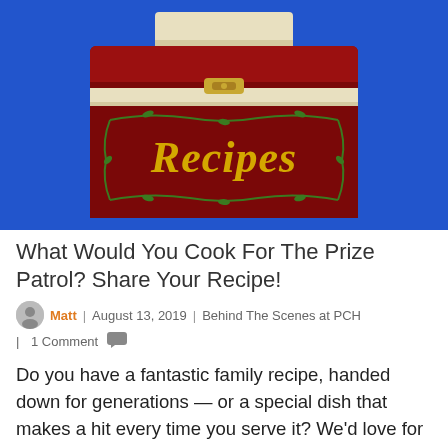[Figure (illustration): Illustration of a red recipe card box with gold 'Recipes' script text on the front, green vine border decoration, a golden latch, and a tab card sticking out the top, set against a blue background.]
What Would You Cook For The Prize Patrol? Share Your Recipe!
Matt | August 13, 2019 | Behind The Scenes at PCH | 1 Comment
Do you have a fantastic family recipe, handed down for generations — or a special dish that makes a hit every time you serve it? We'd love for you to share it with all of us! It could be anything from lasagna, potato salad or stuffed